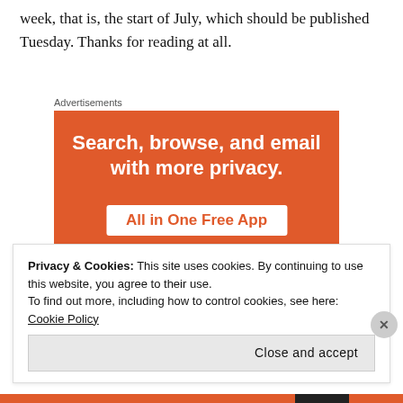week, that is, the start of July, which should be published Tuesday. Thanks for reading at all.
Advertisements
[Figure (illustration): DuckDuckGo advertisement: orange background with white bold text 'Search, browse, and email with more privacy.' and a white button with orange text 'All in One Free App'. Below is a smartphone showing the DuckDuckGo duck logo.]
Privacy & Cookies: This site uses cookies. By continuing to use this website, you agree to their use.
To find out more, including how to control cookies, see here: Cookie Policy
Close and accept